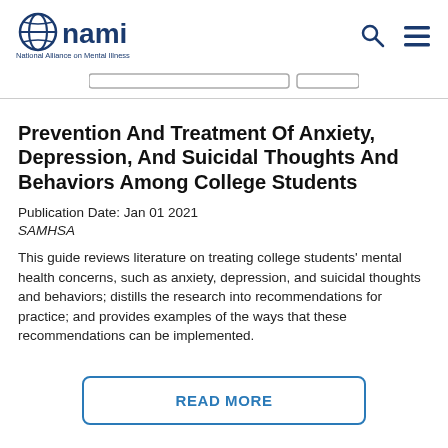NAMI – National Alliance on Mental Illness
Prevention And Treatment Of Anxiety, Depression, And Suicidal Thoughts And Behaviors Among College Students
Publication Date: Jan 01 2021
SAMHSA
This guide reviews literature on treating college students' mental health concerns, such as anxiety, depression, and suicidal thoughts and behaviors; distills the research into recommendations for practice; and provides examples of the ways that these recommendations can be implemented.
READ MORE